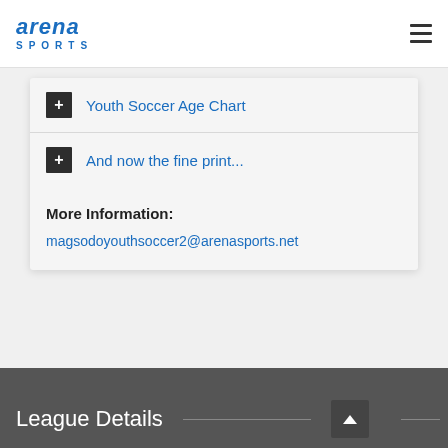arena sports
Youth Soccer Age Chart
And now the fine print...
More Information:
magsodoyouthsoccer2@arenasports.net
League Details